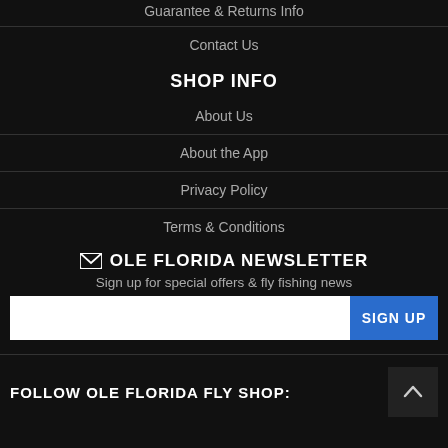Guarantee & Returns Info
Contact Us
SHOP INFO
About Us
About the App
Privacy Policy
Terms & Conditions
✉ OLE FLORIDA NEWSLETTER
Sign up for special offers & fly fishing news
SIGN UP
FOLLOW OLE FLORIDA FLY SHOP: